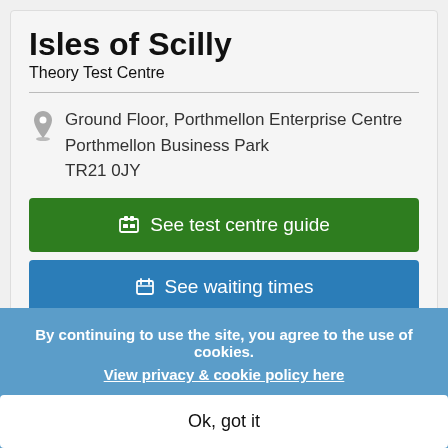Isles of Scilly
Theory Test Centre
Ground Floor, Porthmellon Enterprise Centre
Porthmellon Business Park
TR21 0JY
See test centre guide
See waiting times
Kendal
Theory Test Centre
Ground Floor, Friends Meeting House
LA9 4BH
By continuing to use the site, you agree to the use of cookies.
View privacy & cookie policy here
Ok, got it